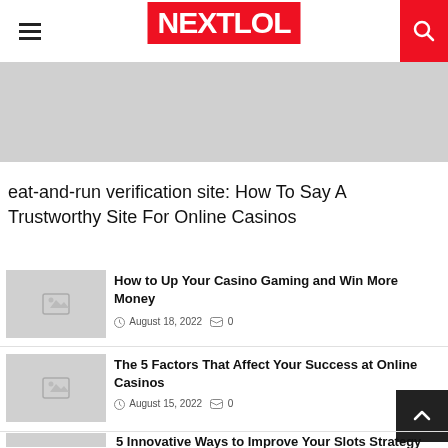NEXTLOL
[Figure (other): Gray placeholder banner/advertisement area]
eat-and-run verification site: How To Say A Trustworthy Site For Online Casinos
[Figure (photo): Thumbnail placeholder image for 'How to Up Your Casino Gaming and Win More Money']
How to Up Your Casino Gaming and Win More Money
August 18, 2022   0
[Figure (photo): Thumbnail placeholder image for 'The 5 Factors That Affect Your Success at Online Casinos']
The 5 Factors That Affect Your Success at Online Casinos
August 15, 2022   0
5 Innovative Ways to Improve Your Slots Strategy